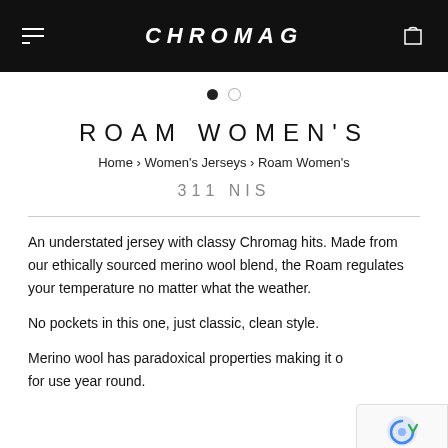CHROMAG
ROAM WOMEN'S
Home › Women's Jerseys › Roam Women's
311 NIS
An understated jersey with classy Chromag hits. Made from our ethically sourced merino wool blend, the Roam regulates your temperature no matter what the weather.
No pockets in this one, just classic, clean style.
Merino wool has paradoxical properties making it o... for use year round.